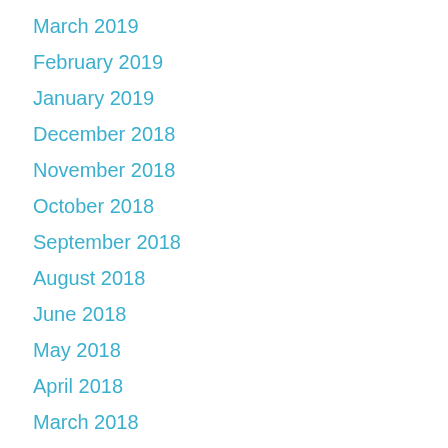March 2019
February 2019
January 2019
December 2018
November 2018
October 2018
September 2018
August 2018
June 2018
May 2018
April 2018
March 2018
February 2018
January 2018